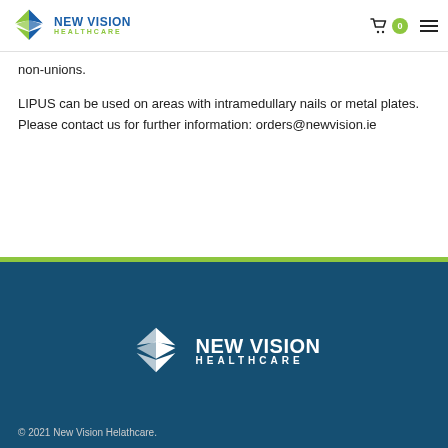[Figure (logo): New Vision Healthcare logo in header]
non-unions.
LIPUS can be used on areas with intramedullary nails or metal plates. Please contact us for further information: orders@newvision.ie
[Figure (logo): New Vision Healthcare white logo in footer]
© 2021 New Vision Helathcare.